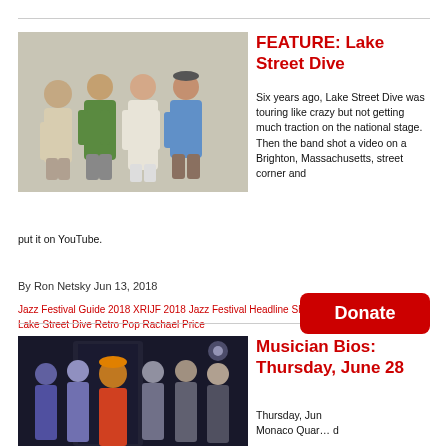[Figure (photo): Group photo of four people — two men and two women — posed together against a light gray background for Lake Street Dive article]
FEATURE: Lake Street Dive
Six years ago, Lake Street Dive was touring like crazy but not getting much traction on the national stage. Then the band shot a video on a Brighton, Massachusetts, street corner and put it on YouTube.
By Ron Netsky Jun 13, 2018
Jazz Festival Guide 2018 XRIJF 2018 Jazz Festival Headline Shows Lake Street Dive Retro Pop Rachael Price
[Figure (photo): Group photo of six musicians posed together in a dark setting for the Musician Bios: Thursday, June 28 article]
Musician Bios: Thursday, June 28
Thursday, Jun… Monaco Quar… d